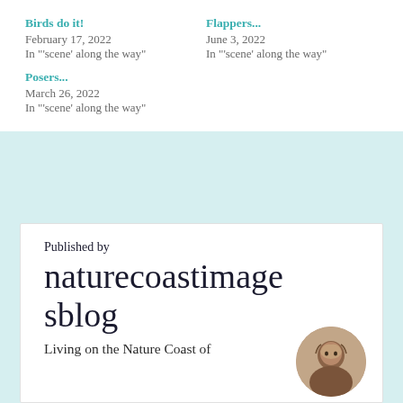Birds do it!
February 17, 2022
In "'scene' along the way"
Flappers...
June 3, 2022
In "'scene' along the way"
Posers...
March 26, 2022
In "'scene' along the way"
Published by naturecoastimagesblog
Living on the Nature Coast of
[Figure (photo): Circular avatar photo of a person]